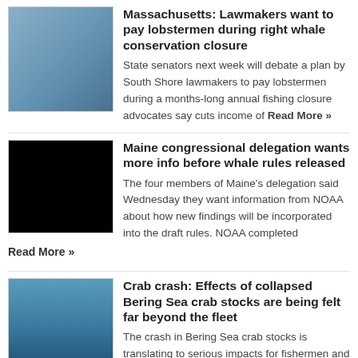[Figure (photo): Group of people standing in front of a building with blue signage]
Massachusetts: Lawmakers want to pay lobstermen during right whale conservation closure
State senators next week will debate a plan by South Shore lawmakers to pay lobstermen during a months-long annual fishing closure advocates say cuts income of Read More »
[Figure (photo): Dark underwater photo of a whale]
Maine congressional delegation wants more info before whale rules released
The four members of Maine's delegation said Wednesday they want information from NOAA about how new findings will be incorporated into the draft rules. NOAA completed
Read More »
[Figure (photo): Fishing vessel at sea with blue water]
Crab crash: Effects of collapsed Bering Sea crab stocks are being felt far beyond the fleet
The crash in Bering Sea crab stocks is translating to serious impacts for fishermen and communities across the Western Alaska coast. From the top, the Bristol Read More »
[Figure (photo): Broken image placeholder]
The world's finest salmon season is now under way